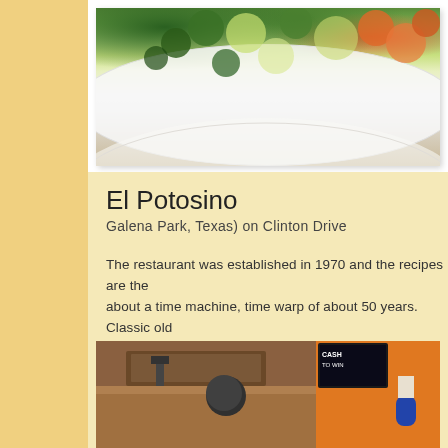[Figure (photo): Close-up photo of a plate with salad/taco ingredients including green lettuce, chopped tomatoes and vegetables on a white speckled plate]
El Potosino
Galena Park, Texas) on Clinton Drive
The restaurant was established in 1970 and the recipes are the about a time machine, time warp of about 50 years. Classic old
[Figure (photo): Interior of El Potosino restaurant showing a counter/register area with a person in a cap standing behind it, orange walls, and a TV screen visible in the upper right]